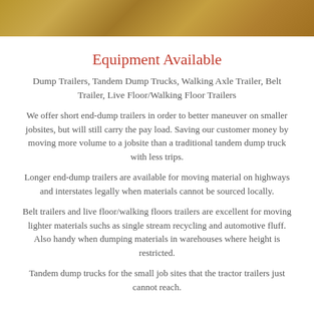[Figure (photo): Decorative header image showing a textured earthy/grain surface in brown and tan tones]
Equipment Available
Dump Trailers, Tandem Dump Trucks, Walking Axle Trailer, Belt Trailer, Live Floor/Walking Floor Trailers
We offer short end-dump trailers in order to better maneuver on smaller jobsites, but will still carry the pay load. Saving our customer money by moving more volume to a jobsite than a traditional tandem dump truck with less trips.
Longer end-dump trailers are available for moving material on highways and interstates legally when materials cannot be sourced locally.
Belt trailers and live floor/walking floors trailers are excellent for moving lighter materials suchs as single stream recycling and automotive fluff. Also handy when dumping materials in warehouses where height is restricted.
Tandem dump trucks for the small job sites that the tractor trailers just cannot reach.